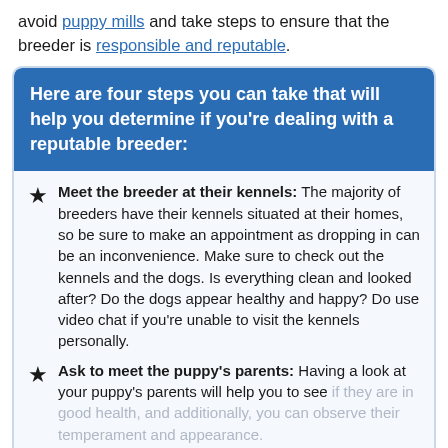avoid puppy mills and take steps to ensure that the breeder is responsible and reputable.
Here are four steps you can take that will help you determine if you're dealing with a reputable breeder:
Meet the breeder at their kennels: The majority of breeders have their kennels situated at their homes, so be sure to make an appointment as dropping in can be an inconvenience. Make sure to check out the kennels and the dogs. Is everything clean and looked after? Do the dogs appear healthy and happy? Do use video chat if you're unable to visit the kennels personally.
Ask to meet the puppy's parents: Having a look at your puppy's parents will help you to see if they are in good health, and additionally, you can observe their temperament and appearance.